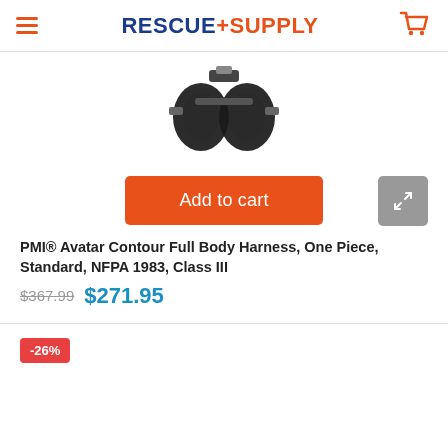RESCUE+SUPPLY
[Figure (photo): PMI Avatar Contour Full Body Harness product image — black harness straps viewed from above]
Add to cart
PMI® Avatar Contour Full Body Harness, One Piece, Standard, NFPA 1983, Class III
$367.99  $271.95
-26%